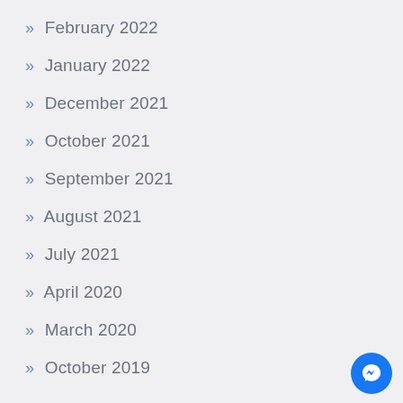February 2022
January 2022
December 2021
October 2021
September 2021
August 2021
July 2021
April 2020
March 2020
October 2019